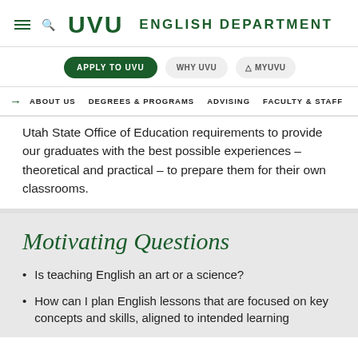UVU ENGLISH DEPARTMENT
APPLY TO UVU | WHY UVU | MYUVU
ABOUT US  DEGREES & PROGRAMS  ADVISING  FACULTY & STAFF
Utah State Office of Education requirements to provide our graduates with the best possible experiences – theoretical and practical – to prepare them for their own classrooms.
Motivating Questions
Is teaching English an art or a science?
How can I plan English lessons that are focused on key concepts and skills, aligned to intended learning